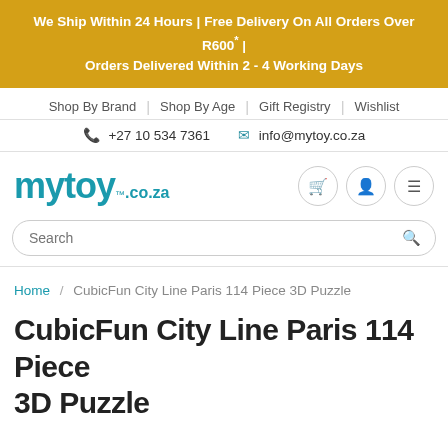We Ship Within 24 Hours | Free Delivery On All Orders Over R600* | Orders Delivered Within 2 - 4 Working Days
Shop By Brand | Shop By Age | Gift Registry | Wishlist
+27 10 534 7361   info@mytoy.co.za
[Figure (logo): mytoy.co.za logo in teal/cyan color]
Search
Home / CubicFun City Line Paris 114 Piece 3D Puzzle
CubicFun City Line Paris 114 Piece 3D Puzzle